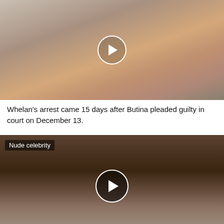[Figure (photo): A blonde woman in a black open jacket posing outdoors with a play button overlay in the center]
Whelan's arrest came 15 days after Butina pleaded guilty in court on December 13.
[Figure (photo): A dark blurry scene showing a person with label 'Nude celebrity' and a play button overlay in the center]